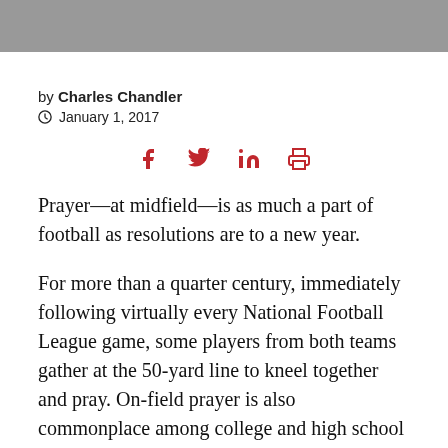by Charles Chandler
© January 1, 2017
[Figure (other): Social share icons: Facebook, Twitter, LinkedIn, Print in dark red/crimson color]
Prayer—at midfield—is as much a part of football as resolutions are to a new year.
For more than a quarter century, immediately following virtually every National Football League game, some players from both teams gather at the 50-yard line to kneel together and pray. On-field prayer is also commonplace among college and high school teams.